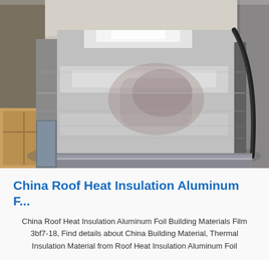[Figure (photo): A large shiny aluminum foil roll on industrial machinery. The roll is silver/metallic, cylindrical, with a blurred motion effect. Visible machinery and wooden crates surround it.]
China Roof Heat Insulation Aluminum F...
China Roof Heat Insulation Aluminum Foil Building Materials Film 3bf7-18, Find details about China Building Material, Thermal Insulation Material from Roof Heat Insulation Aluminum Foil